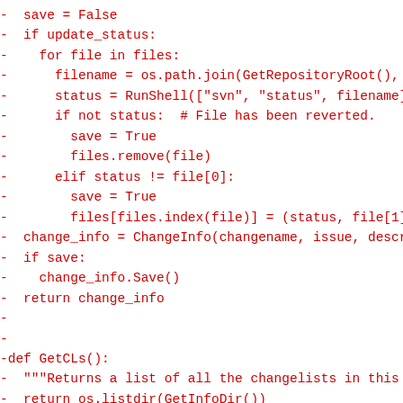[Figure (other): Diff/code view showing deleted lines (prefixed with '-') of Python source code in red monospace font, including lines with save=False, if update_status, for file in files, filename assignment, status assignment, if not status comment, save=True, files.remove(file), elif status != file[0], save=True, files[files.index(file)] assignment, change_info assignment, if save, change_info.Save(), return change_info, blank lines, def GetCLs(), docstring, return os.listdir(GetInfoDir()), and more blank lines.]